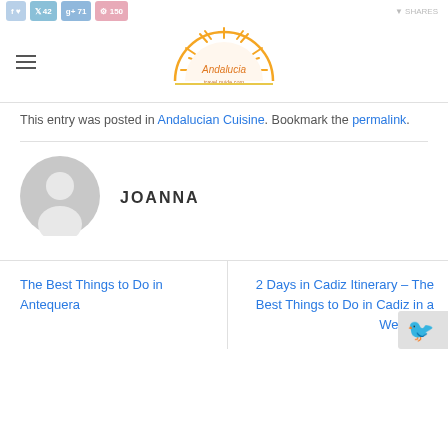[Figure (screenshot): Social share buttons: Facebook, Twitter, Google+, Pinterest with counts, and SHARES label]
[Figure (logo): Andalucia travel guide sun logo with orange/yellow rays and text 'Andalucia' inside semicircle]
This entry was posted in Andalucian Cuisine. Bookmark the permalink.
[Figure (illustration): Default grey user avatar silhouette circle]
JOANNA
The Best Things to Do in Antequera
2 Days in Cadiz Itinerary – The Best Things to Do in Cadiz in a Weekend